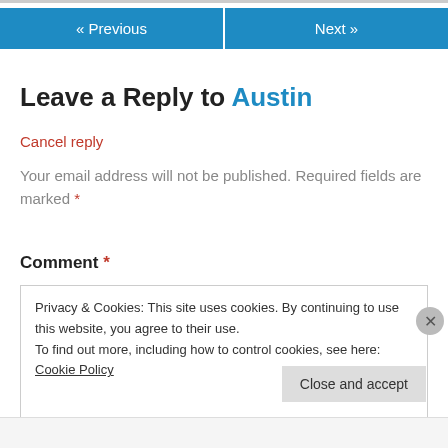[Figure (other): Navigation buttons: « Previous and Next »]
Leave a Reply to Austin
Cancel reply
Your email address will not be published. Required fields are marked *
Comment *
Privacy & Cookies: This site uses cookies. By continuing to use this website, you agree to their use.
To find out more, including how to control cookies, see here: Cookie Policy
Close and accept